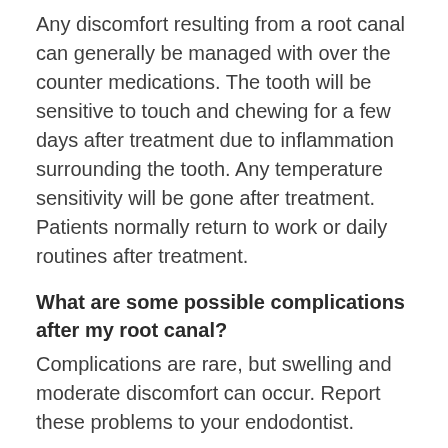Any discomfort resulting from a root canal can generally be managed with over the counter medications. The tooth will be sensitive to touch and chewing for a few days after treatment due to inflammation surrounding the tooth. Any temperature sensitivity will be gone after treatment. Patients normally return to work or daily routines after treatment.
What are some possible complications after my root canal?
Complications are rare, but swelling and moderate discomfort can occur. Report these problems to your endodontist.